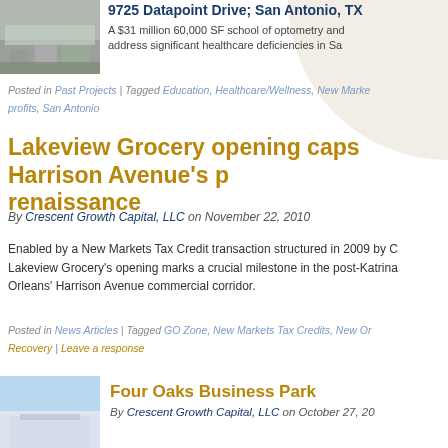[Figure (photo): Photo of a building exterior with landscaping]
9725 Datapoint Drive; San Antonio, TX
A $31 million 60,000 SF school of optometry and... address significant healthcare deficiencies in Sa...
Posted in Past Projects | Tagged Education, Healthcare/Wellness, New Marke... profits, San Antonio
Lakeview Grocery opening caps Harrison Avenue's renaissance
By Crescent Growth Capital, LLC on November 22, 2010
Enabled by a New Markets Tax Credit transaction structured in 2009 by C... Lakeview Grocery's opening marks a crucial milestone in the post-Katrina... Orleans' Harrison Avenue commercial corridor.
Posted in News Articles | Tagged GO Zone, New Markets Tax Credits, New Or... Recovery | Leave a response
[Figure (photo): Photo of a sky and building]
Four Oaks Business Park
By Crescent Growth Capital, LLC on October 27, 20...